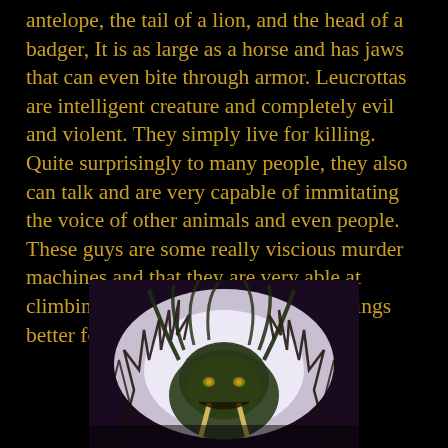antelope, the tail of a lion, and the head of a badger, It is as large as a horse and has jaws that can even bite through armor. Leucrottas are intelligent creature and completely evil and violent. They simply live for killing. Quite surprisingly to many people, they also can talk and are very capable of immitating the voice of other animals and even people. These guys are some really viscious murder machines and that they are very able at climbing and jumping doesn't make things better for anyone.
[Figure (illustration): Fantasy creature illustration showing a monstrous creature with tentacle-like appendages, dark green/brown coloring, large tusks or teeth, set against a misty purple/white background with bare tree branches.]